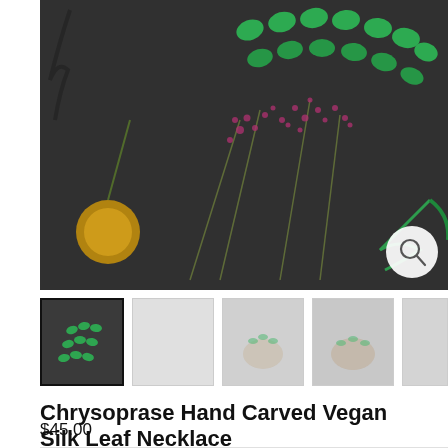[Figure (photo): Flat lay product photo on dark background showing green chrysoprase leaf-shaped beads, dried pink flowers, green feathers, and botanical elements arranged on dark grey/black textured surface. A magnifying glass/zoom icon button in the bottom right corner.]
[Figure (photo): Thumbnail strip of 5 product photos for the Chrysoprase Hand Carved Vegan Silk Leaf Necklace. First thumbnail is selected (dark border) showing the flat lay. Others show hands holding/wearing the necklace.]
Chrysoprase Hand Carved Vegan Silk Leaf Necklace
$45.00